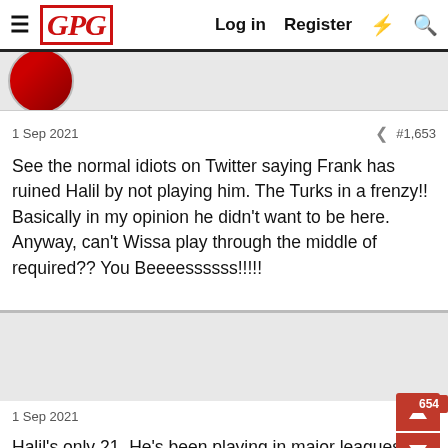GPG  Log in  Register
1 Sep 2021  #1,653
See the normal idiots on Twitter saying Frank has ruined Halil by not playing him. The Turks in a frenzy!! Basically in my opinion he didn't want to be here. Anyway, can't Wissa play through the middle of required?? You Beeeessss!!!!!
SH
Active member
1 Sep 2021  #1,654
Halil's only 21. He's been playing in major leagues since he was, what?, 18. He's a full Turkish international and will be playing for one of the top sides there in front of 30,000+